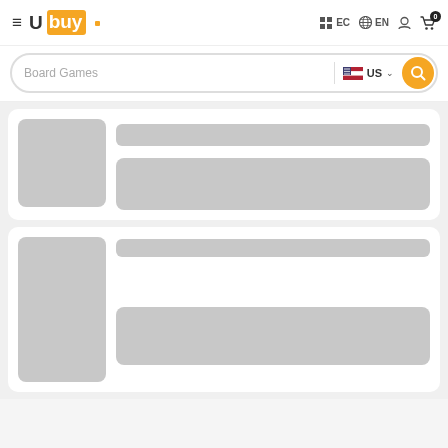Ubuy EC EN 0
Board Games US
[Figure (screenshot): Product listing card 1: gray image placeholder on left, two gray content placeholder bars on right]
[Figure (screenshot): Product listing card 2: gray image placeholder on left, gray title bar and gray content bar on right]